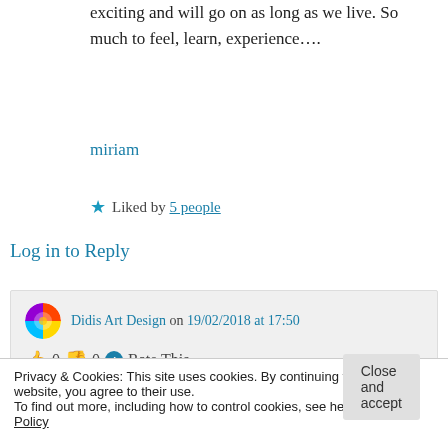exciting and will go on as long as we live. So much to feel, learn, experience….
miriam
★ Liked by 5 people
Log in to Reply
Didis Art Design on 19/02/2018 at 17:50
👍 0 👎 0 ℹ Rate This
Privacy & Cookies: This site uses cookies. By continuing to use this website, you agree to their use.
To find out more, including how to control cookies, see here: Cookie Policy
Close and accept
endless journey – and it does not even end